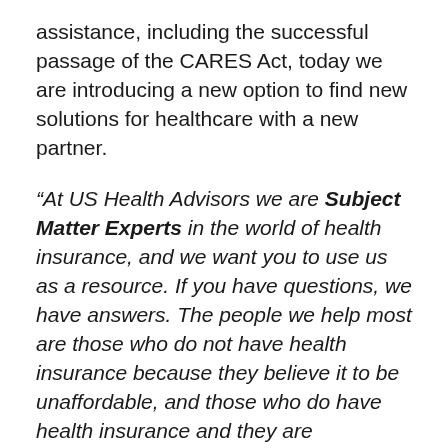assistance, including the successful passage of the CARES Act, today we are introducing a new option to find new solutions for healthcare with a new partner.
“At US Health Advisors we are Subject Matter Experts in the world of health insurance, and we want you to use us as a resource. If you have questions, we have answers. The people we help most are those who do not have health insurance because they believe it to be unaffordable, and those who do have health insurance and they are complaining about how much it costs. We can help anyone, anywhere with anything regarding their health insurance, and we look forward to working